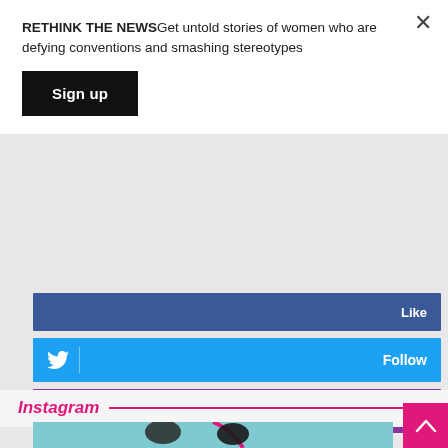RETHINK THE NEWSGet untold stories of women who are defying conventions and smashing stereotypes
Sign up
[Figure (screenshot): Social media follow/like buttons: Facebook Like bar (blue), Twitter Follow bar (light blue), Instagram Follow bar (purple)]
Instagram
[Figure (photo): Photo of two people dancing or posing outdoors against a teal/blue background, with pink ribbon/scarf elements visible]